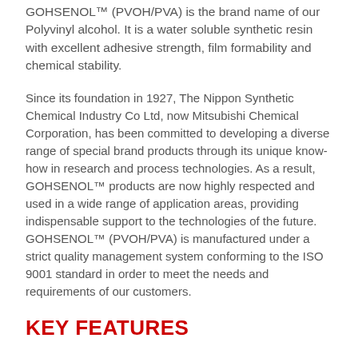GOHSENOL™ (PVOH/PVA) is the brand name of our Polyvinyl alcohol. It is a water soluble synthetic resin with excellent adhesive strength, film formability and chemical stability.
Since its foundation in 1927, The Nippon Synthetic Chemical Industry Co Ltd, now Mitsubishi Chemical Corporation, has been committed to developing a diverse range of special brand products through its unique know-how in research and process technologies. As a result, GOHSENOL™ products are now highly respected and used in a wide range of application areas, providing indispensable support to the technologies of the future. GOHSENOL™ (PVOH/PVA) is manufactured under a strict quality management system conforming to the ISO 9001 standard in order to meet the needs and requirements of our customers.
KEY FEATURES
High purity
Excellent film forming & film strength
High moisture & gas barrier
Binding capability